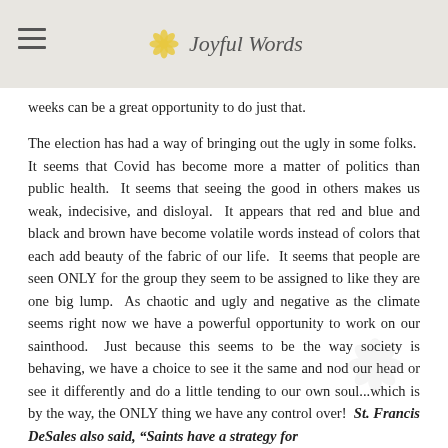Joyful Words
weeks can be a great opportunity to do just that.
The election has had a way of bringing out the ugly in some folks.  It seems that Covid has become more a matter of politics than public health.  It seems that seeing the good in others makes us weak, indecisive, and disloyal.  It appears that red and blue and black and brown have become volatile words instead of colors that each add beauty of the fabric of our life.  It seems that people are seen ONLY for the group they seem to be assigned to like they are one big lump.  As chaotic and ugly and negative as the climate seems right now we have a powerful opportunity to work on our sainthood.  Just because this seems to be the way society is behaving, we have a choice to see it the same and nod our head or see it differently and do a little tending to our own soul...which is by the way, the ONLY thing we have any control over!  St. Francis DeSales also said, “Saints have a strategy for